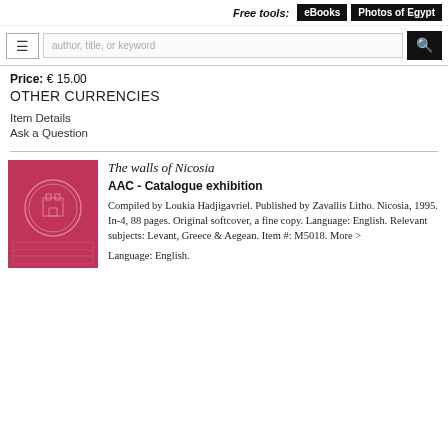Free tools: eBooks Photos of Egypt
author, title, or keyword [search]
Price: € 15.00
OTHER CURRENCIES
Item Details
Ask a Question
[Figure (photo): Pink/red book cover with embossed circular seal/medallion design]
The walls of Nicosia
AAC - Catalogue exhibition
Compiled by Loukia Hadjigavriel. Published by Zavallis Litho. Nicosia, 1995. In-4, 88 pages. Original softcover, a fine copy. Language: English. Relevant subjects: Levant, Greece & Aegean. Item #: M5018. More >
Language: English.